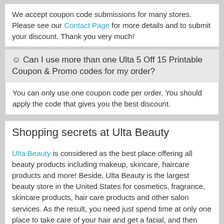We accept coupon code submissions for many stores. Please see our Contact Page for more details and to submit your discount. Thank you very much!
☺ Can I use more than one Ulta 5 Off 15 Printable Coupon & Promo codes for my order?
You can only use one coupon code per order. You should apply the code that gives you the best discount.
Shopping secrets at Ulta Beauty
Ulta Beauty is considered as the best place offering all beauty products including makeup, skincare, haircare products and more! Beside, Ulta Beauty is the largest beauty store in the United States for cosmetics, fragrance, skincare products, hair care products and other salon services. As the result, you need just spend time at only one place to take care of your hair and get a facial, and then ordering a curling iron or moisturizer to protect your look at home.